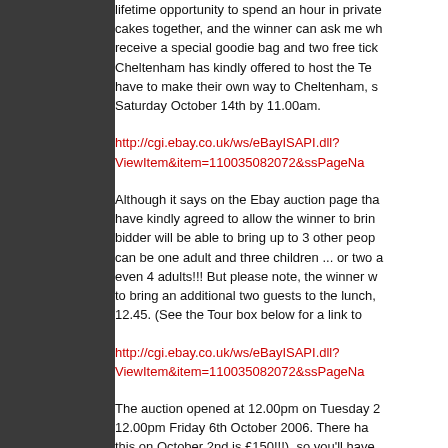lifetime opportunity to spend an hour in private baking cakes together, and the winner can ask me wh... receive a special goodie bag and two free tick... Cheltenham has kindly offered to host the Te... have to make their own way to Cheltenham, s... Saturday October 14th by 11.00am.
http://cgi.ebay.co.uk/ws/eBayISAPI.dll?ViewItem&item=110035082072&ssPageNa
Although it says on the Ebay auction page tha... have kindly agreed to allow the winner to brin... bidder will be able to bring up to 3 other peop... can be one adult and three children ... or two a... even 4 adults!!! But please note, the winner w... to bring an additional two guests to the lunch,... 12.45. (See the Tour box below for a link to
http://cgi.ebay.co.uk/ws/eBayISAPI.dll?ViewItem&item=110035082072&ssPageNa
The auction opened at 12.00pm on Tuesday 2... 12.00pm Friday 6th October 2006. There ha... this on October 2nd is £150!!!), so you'll have... deep on your behalf!!) to outbid everyone else... and it's for a great cause, so it truly is a very...